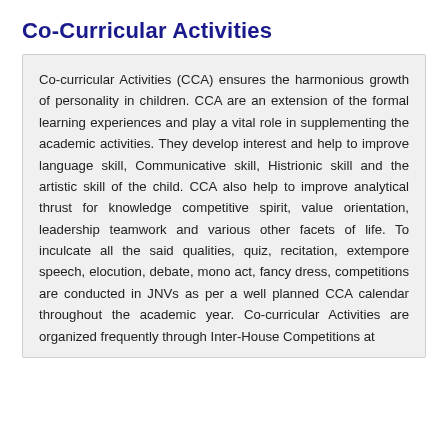Co-Curricular Activities
Co-curricular Activities (CCA) ensures the harmonious growth of personality in children. CCA are an extension of the formal learning experiences and play a vital role in supplementing the academic activities. They develop interest and help to improve language skill, Communicative skill, Histrionic skill and the artistic skill of the child. CCA also help to improve analytical thrust for knowledge competitive spirit, value orientation, leadership teamwork and various other facets of life. To inculcate all the said qualities, quiz, recitation, extempore speech, elocution, debate, mono act, fancy dress, competitions are conducted in JNVs as per a well planned CCA calendar throughout the academic year. Co-curricular Activities are organized frequently through Inter-House Competitions at